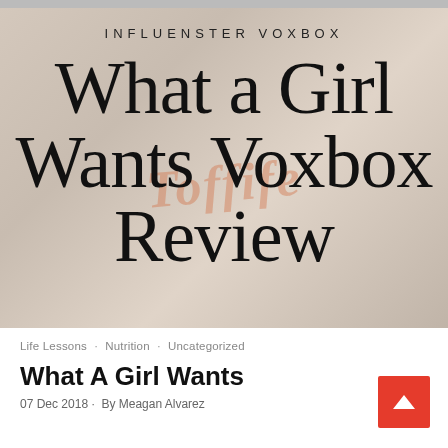[Figure (photo): Blog post hero image with background showing Toffifee products, overlaid with bold serif title text 'What a Girl Wants Voxbox Review' and smaller uppercase label 'INFLUENSTER VOXBOX' above it]
Life Lessons · Nutrition · Uncategorized
What A Girl Wants
07 Dec 2018 · By Meagan Alvarez